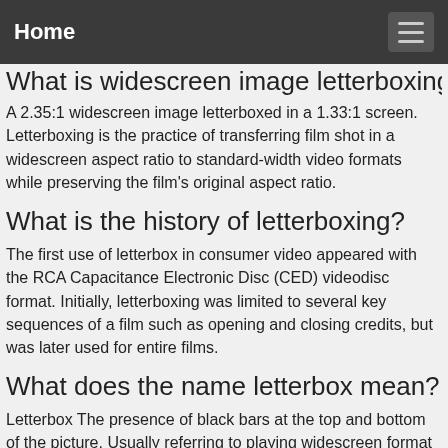Home
What is widescreen image letterboxing?
A 2.35:1 widescreen image letterboxed in a 1.33:1 screen. Letterboxing is the practice of transferring film shot in a widescreen aspect ratio to standard-width video formats while preserving the film's original aspect ratio.
What is the history of letterboxing?
The first use of letterbox in consumer video appeared with the RCA Capacitance Electronic Disc (CED) videodisc format. Initially, letterboxing was limited to several key sequences of a film such as opening and closing credits, but was later used for entire films.
What does the name letterbox mean?
Letterbox The presence of black bars at the top and bottom of the picture. Usually referring to playing widescreen format